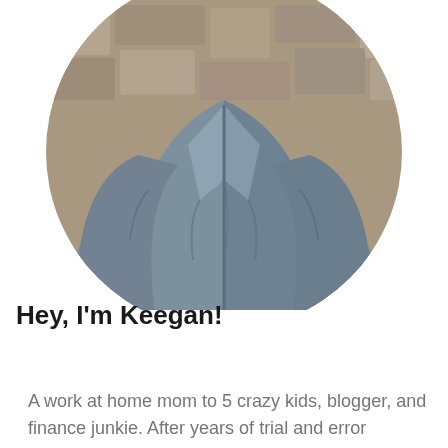[Figure (photo): Circular cropped profile photo of a person wearing a grey/blue blazer jacket, photographed from neck down. Stone wall visible in background.]
Hey, I'm Keegan!
A work at home mom to 5 crazy kids, blogger, and finance junkie. After years of trial and error